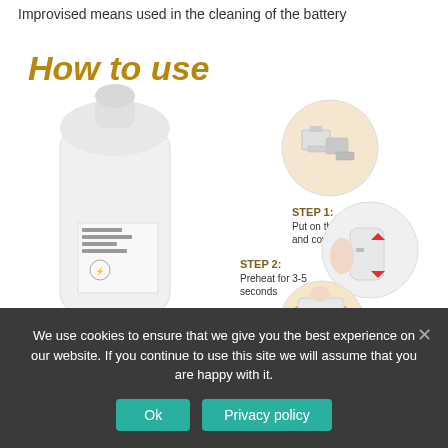Improvised means used in the cleaning of the battery
[Figure (infographic): How to use infographic showing a white mini heat sealer device on the left, with three steps on the right: Step 1: Put on the battery and cover the seal (with circular photo of battery components). Step 2: Preheat for 3-5 seconds (with circular photo of device being pressed). Step 3: Pull the sealing at a constant speed (with circular photo of device sealing a bag).]
We use cookies to ensure that we give you the best experience on our website. If you continue to use this site we will assume that you are happy with it.